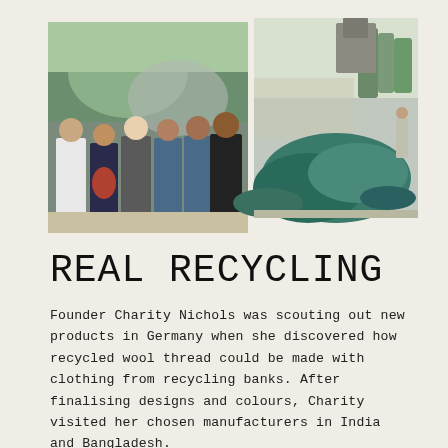[Figure (photo): Two photographs side by side: left photo shows a group of five people standing in front of a colourful mural with an elephant and nature scene; right photo shows a large pile of shredded teal/green fabric or material being dumped outdoors.]
REAL RECYCLING
Founder Charity Nichols was scouting out new products in Germany when she discovered how recycled wool thread could be made with clothing from recycling banks. After finalising designs and colours, Charity visited her chosen manufacturers in India and Bangladesh.